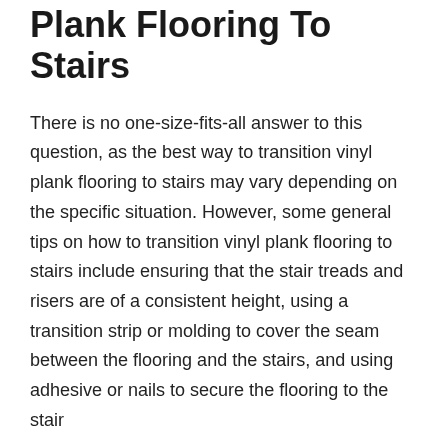Plank Flooring To Stairs
There is no one-size-fits-all answer to this question, as the best way to transition vinyl plank flooring to stairs may vary depending on the specific situation. However, some general tips on how to transition vinyl plank flooring to stairs include ensuring that the stair treads and risers are of a consistent height, using a transition strip or molding to cover the seam between the flooring and the stairs, and using adhesive or nails to secure the flooring to the stair
How To Transition Vinyl